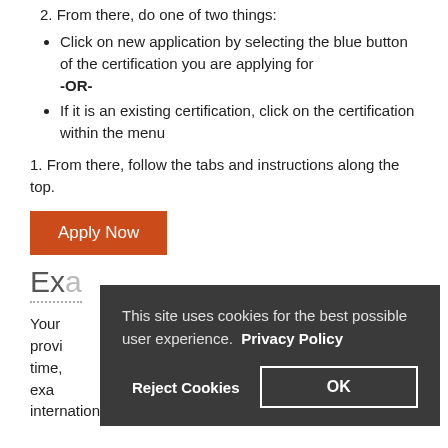2. From there, do one of two things:
Click on new application by selecting the blue button of the certification you are applying for -OR-
If it is an existing certification, click on the certification within the menu
1. From there, follow the tabs and instructions along the top.
Apply Now
Ex...
Your... provi... time,... exa... internationally.
This site uses cookies for the best possible user experience.  Privacy Policy
Reject Cookies    OK